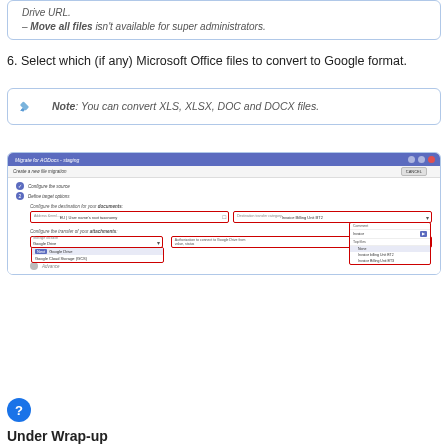Drive URL.
– Move all files isn't available for super administrators.
6. Select which (if any) Microsoft Office files to convert to Google format.
Note: You can convert XLS, XLSX, DOC and DOCX files.
[Figure (screenshot): Screenshot of Migrate for AODocs - staging interface showing 'Create a new file migration' with steps: Configure the source, Define target options. The Configure destination section shows fields for address, content transfer settings with dropdown menus for Google Drive and Google Cloud Storage options, plus a Billing Unit panel with dropdown showing Invoice Billing Unit BT2 and BT3 options.]
Under Wrap-up